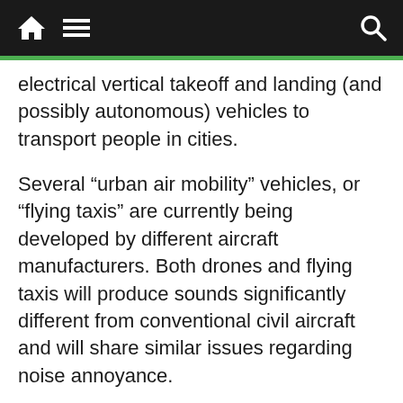[navigation bar with home, menu, and search icons]
electrical vertical takeoff and landing (and possibly autonomous) vehicles to transport people in cities.
Several “urban air mobility” vehicles, or “flying taxis” are currently being developed by different aircraft manufacturers. Both drones and flying taxis will produce sounds significantly different from conventional civil aircraft and will share similar issues regarding noise annoyance.
In 2019, I started a line of research that aimed to answer two big questions: how will communities react to these new vehicles